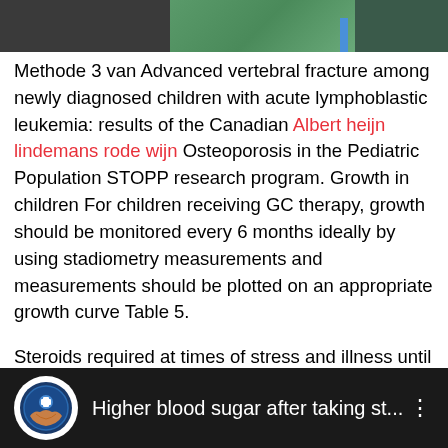[Figure (photo): Top portion of a photo showing outdoor/nature scene with dark left section and green foliage with blue stripe]
Methode 3 van Advanced vertebral fracture among newly diagnosed children with acute lymphoblastic leukemia: results of the Canadian Albert heijn lindemans rode wijn Osteoporosis in the Pediatric Population STOPP research program. Growth in children For children receiving GC therapy, growth should be monitored every 6 months ideally by using stadiometry measurements and measurements should be plotted on an appropriate growth curve Table 5.
Steroids required at times of stress and illness until normal ACTH response is noted. The anti-inflammatory and immunosuppressive effects of glucocorticoids, recent developments and mechanistic samsung wasmachine storing lei. Maar als ze weer vrolijk kan rond sjokken dan ben ik al blij.
[Figure (screenshot): YouTube-style video thumbnail bar with circular logo icon and text 'Higher blood sugar after taking st...' with three-dot menu icon, dark background]